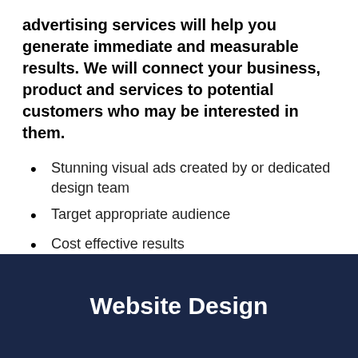advertising services will help you generate immediate and measurable results. We will connect your business, product and services to potential customers who may be interested in them.
Stunning visual ads created by or dedicated design team
Target appropriate audience
Cost effective results
Constant monitoring of your campaigns
Website Design